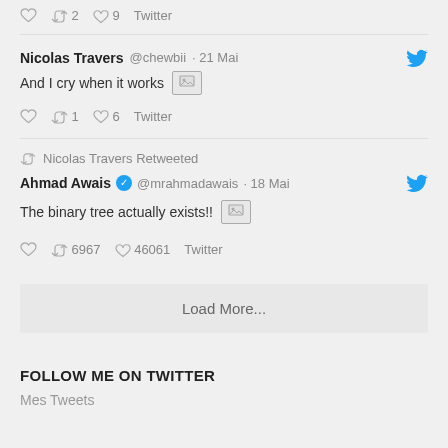2 retweets, 9 likes, Twitter
Nicolas Travers @chewbii · 21 Mai — And I cry when it works [image]
1 retweet, 6 likes, Twitter
Nicolas Travers Retweeted
Ahmad Awais @mrahmadawais · 18 Mai — The binary tree actually exists!! [image]
6967 retweets, 46061 likes, Twitter
Load More...
FOLLOW ME ON TWITTER
Mes Tweets